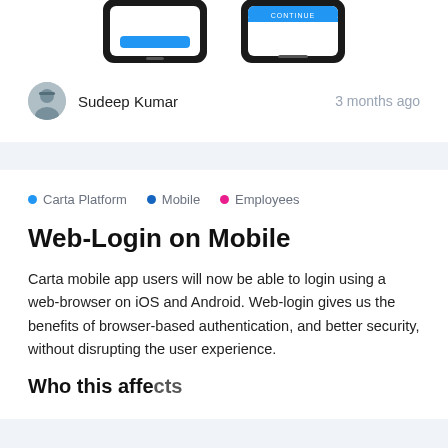[Figure (screenshot): Two smartphone screens showing a mobile login interface with a blue button and a blue bar labeled 'CONTINUE']
Sudeep Kumar    3 months ago
• Carta Platform  • Mobile  • Employees
Web-Login on Mobile
Carta mobile app users will now be able to login using a web-browser on iOS and Android. Web-login gives us the benefits of browser-based authentication, and better security, without disrupting the user experience.
Who this affects